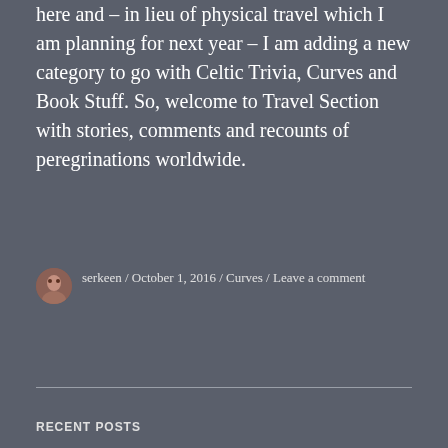here and – in lieu of physical travel which I am planning for next year – I am adding a new category to go with Celtic Trivia, Curves and Book Stuff. So, welcome to Travel Section with stories, comments and recounts of peregrinations worldwide.
serkeen / October 1, 2016 / Curves / Leave a comment
RECENT POSTS